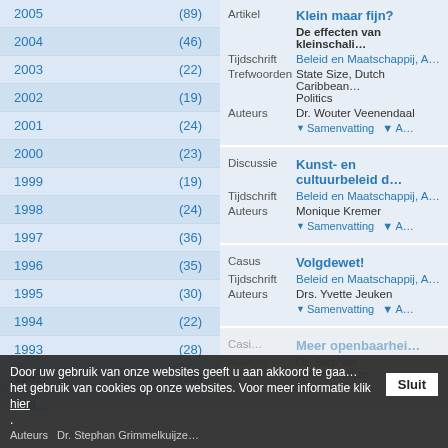2005 (89)
2004 (46)
2003 (22)
2002 (19)
2001 (24)
2000 (23)
1999 (19)
1998 (24)
1997 (36)
1996 (35)
1995 (30)
1994 (22)
1993 (28)
1992 (26)
1990 (26)
Artikel - Klein maar fijn? - De effecten van kleinschaligheid - Tijdschrift: Beleid en Maatschappij - Trefwoorden: State Size, Dutch Caribbean, Politics - Auteurs: Dr. Wouter Veenendaal
Discussie - Kunst- en cultuurbeleid - Tijdschrift: Beleid en Maatschappij - Auteurs: Monique Kremer
Casus - Volgdewet! - Tijdschrift: Beleid en Maatschappij - Auteurs: Drs. Yvette Jeuken
Door uw gebruik van onze websites geeft u aan akkoord te gaan het gebruik van cookies op onze websites. Voor meer informatie klik hier.